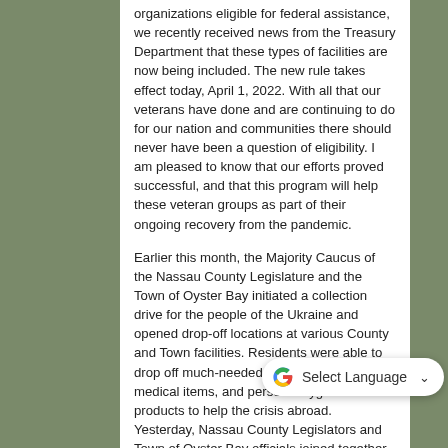organizations eligible for federal assistance, we recently received news from the Treasury Department that these types of facilities are now being included. The new rule takes effect today, April 1, 2022. With all that our veterans have done and are continuing to do for our nation and communities there should never have been a question of eligibility. I am pleased to know that our efforts proved successful, and that this program will help these veteran groups as part of their ongoing recovery from the pandemic.
Earlier this month, the Majority Caucus of the Nassau County Legislature and the Town of Oyster Bay initiated a collection drive for the people of the Ukraine and opened drop-off locations at various County and Town facilities. Residents were able to drop off much-needed supplies including medical items, and personal hygiene products to help the crisis abroad. Yesterday, Nassau County Legislators and Town of Oyster Bay officials joined together to load the last boxes filled with donations to be shipped overseas. 45,000 pounds will be transported to Jersey where arrangements have been made to ship